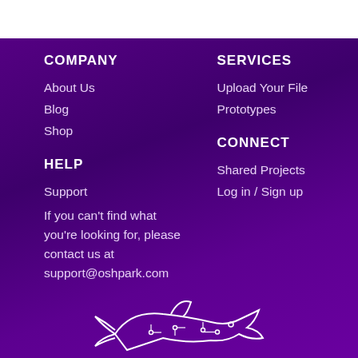COMPANY
About Us
Blog
Shop
SERVICES
Upload Your File
Prototypes
HELP
Support
If you can't find what you're looking for, please contact us at support@oshpark.com
CONNECT
Shared Projects
Log in / Sign up
[Figure (illustration): White line-art illustration of a shark with circuit board design elements]